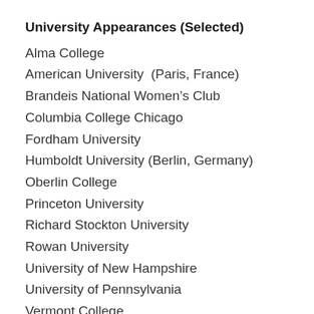University Appearances (Selected)
Alma College
American University  (Paris, France)
Brandeis National Women's Club
Columbia College Chicago
Fordham University
Humboldt University (Berlin, Germany)
Oberlin College
Princeton University
Richard Stockton University
Rowan University
University of New Hampshire
University of Pennsylvania
Vermont College
Warren County Community College